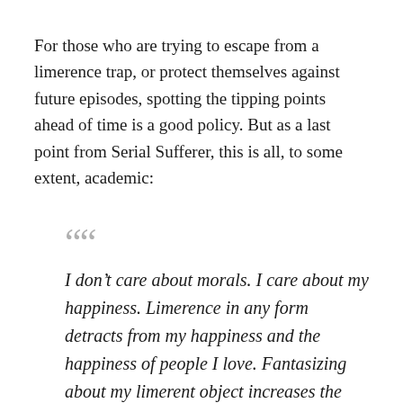For those who are trying to escape from a limerence trap, or protect themselves against future episodes, spotting the tipping points ahead of time is a good policy. But as a last point from Serial Sufferer, this is all, to some extent, academic:
““
I don’t care about morals. I care about my happiness. Limerence in any form detracts from my happiness and the happiness of people I love. Fantasizing about my limerent object increases the chances that any of things I listed above